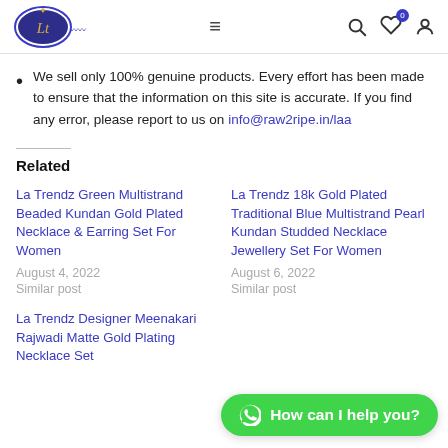La Trendz website navigation header with logo, hamburger menu, search, wishlist, and account icons
We sell only 100% genuine products. Every effort has been made to ensure that the information on this site is accurate. If you find any error, please report to us on info@raw2ripe.in/laa
Related
La Trendz Green Multistrand Beaded Kundan Gold Plated Necklace & Earring Set For Women
August 4, 2022
Similar post
La Trendz 18k Gold Plated Traditional Blue Multistrand Pearl Kundan Studded Necklace Jewellery Set For Women
August 6, 2022
Similar post
La Trendz Designer Meenakari Rajwadi Matte Gold Plating Necklace Set
How can I help you?